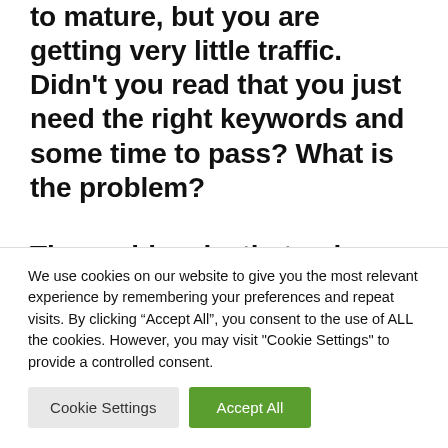to mature, but you are getting very little traffic. Didn't you read that you just need the right keywords and some time to pass? What is the problem?

The problem is, that unless other sites with high domain authority link back to your site, Google (and other search engines), will not trust your site. So what is backlinking in SEO and how do
We use cookies on our website to give you the most relevant experience by remembering your preferences and repeat visits. By clicking "Accept All", you consent to the use of ALL the cookies. However, you may visit "Cookie Settings" to provide a controlled consent.